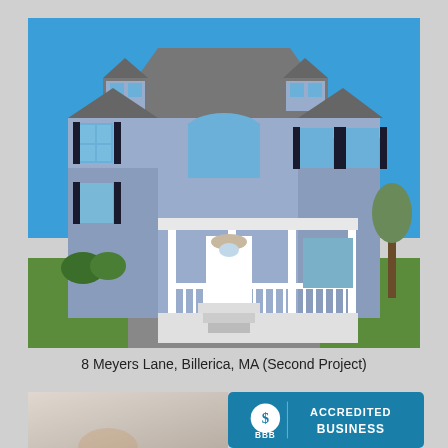[Figure (photo): Exterior photo of a large two-story colonial-style house with gray siding, black shutters, white front porch with railings and stairs, dormers on the roof, and a well-manicured green lawn under blue sky.]
8 Meyers Lane, Billerica, MA (Second Project)
[Figure (photo): Partial interior photo of a room, partially obscured by BBB Accredited Business badge overlay.]
[Figure (logo): BBB Accredited Business badge with blue background, BBB symbol and text reading ACCREDITED BUSINESS.]